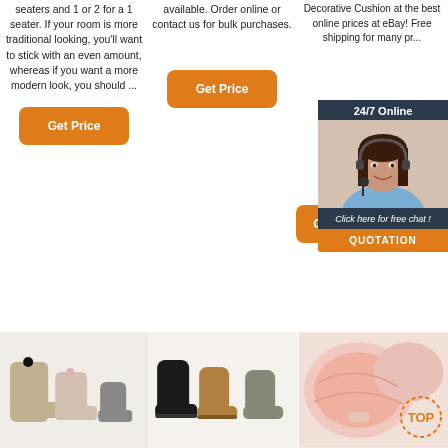seaters and 1 or 2 for a 1 seater. If your room is more traditional looking, you'll want to stick with an even amount, whereas if you want a more modern look, you should ...
available. Order online or contact us for bulk purchases.
Decorative Cushion at the best online prices at eBay! Free shipping for many pr...
[Figure (other): Orange 'Get Price' button]
[Figure (other): 24/7 Online chat widget with agent photo, 'Click here for free chat!' text and QUOTATION button]
[Figure (other): Orange 'Get Price' button (col1 bottom)]
[Figure (other): Orange partial 'G' Get Price button (col3)]
[Figure (photo): Photo of UGG-style boots with bows in various colors on white background]
[Figure (photo): Photo of UGG-style short boots in black/tan/grey colors on white background]
[Figure (photo): Photo of pink fluffy decorative cushions with TOP badge overlay]